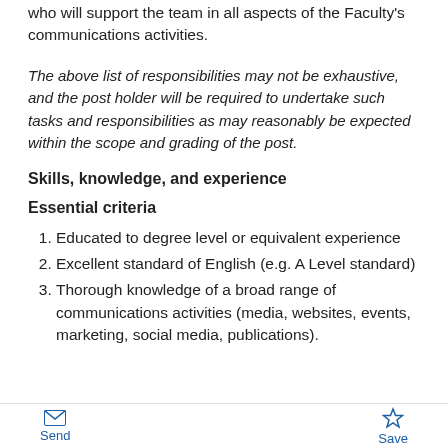who will support the team in all aspects of the Faculty's communications activities.
The above list of responsibilities may not be exhaustive, and the post holder will be required to undertake such tasks and responsibilities as may reasonably be expected within the scope and grading of the post.
Skills, knowledge, and experience
Essential criteria
Educated to degree level or equivalent experience
Excellent standard of English (e.g. A Level standard)
Thorough knowledge of a broad range of communications activities (media, websites, events, marketing, social media, publications).
Send   Save